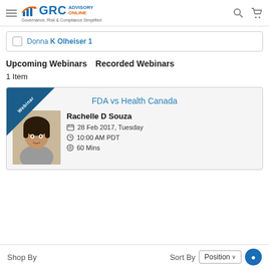GRC Advisory Online - Governance, Risk & Compliance Simplified
Donna K Olheiser 1
Upcoming Webinars   Recorded Webinars
1 Item
[Figure (screenshot): Webinar card for 'FDA vs Health Canada' by Rachelle D Souza, dated 28 Feb 2017, Tuesday, 10:00 AM PDT, 60 Mins]
Shop By   Sort By   Position